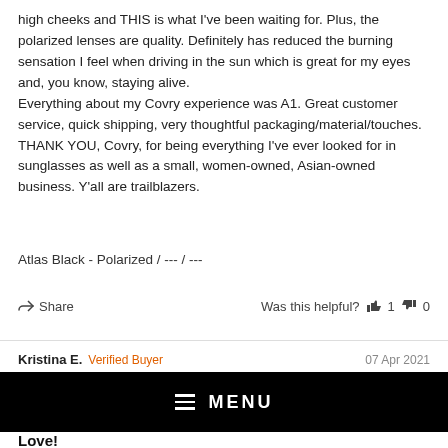high cheeks and THIS is what I've been waiting for. Plus, the polarized lenses are quality. Definitely has reduced the burning sensation I feel when driving in the sun which is great for my eyes and, you know, staying alive.
Everything about my Covry experience was A1. Great customer service, quick shipping, very thoughtful packaging/material/touches. THANK YOU, Covry, for being everything I've ever looked for in sunglasses as well as a small, women-owned, Asian-owned business. Y'all are trailblazers.
Atlas Black - Polarized / --- / ---
Share   Was this helpful? 👍 1 👎 0
Kristina E. Verified Buyer  07 Apr 2021
[Figure (screenshot): Black navigation bar overlay with hamburger menu icon and MENU text in white]
Love!